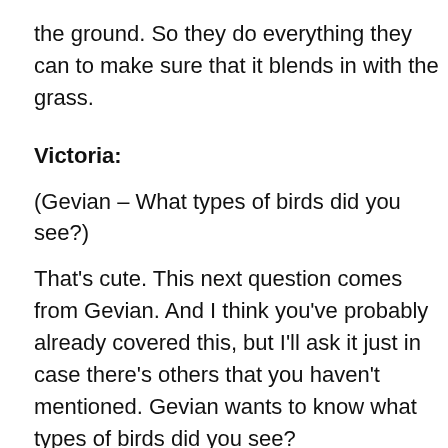the ground. So they do everything they can to make sure that it blends in with the grass.
Victoria:
(Gevian – What types of birds did you see?)
That's cute. This next question comes from Gevian. And I think you've probably already covered this, but I'll ask it just in case there's others that you haven't mentioned. Gevian wants to know what types of birds did you see?
Alyssa DeRubeis:
Yeah. Well, and that is a good question because there were, now that I'm thinking about it, there are a couple that I saw at my research sites, but I didn't mention